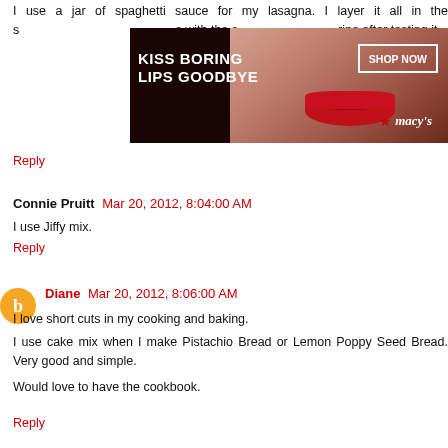I use a jar of spaghetti sauce for my lasagna. I layer it all in the s...s with the s...ripe after tasting it.
[Figure (photo): Advertisement banner for Macy's with woman's face and red lips. Text reads 'KISS BORING LIPS GOODBYE' with 'SHOP NOW' button and Macy's star logo.]
Reply
Connie Pruitt  Mar 20, 2012, 8:04:00 AM
I use Jiffy mix.
Reply
Diane  Mar 20, 2012, 8:06:00 AM
I love short cuts in my cooking and baking. I use cake mix when I make Pistachio Bread or Lemon Poppy Seed Bread. Very good and simple.

Would love to have the cookbook.
Reply